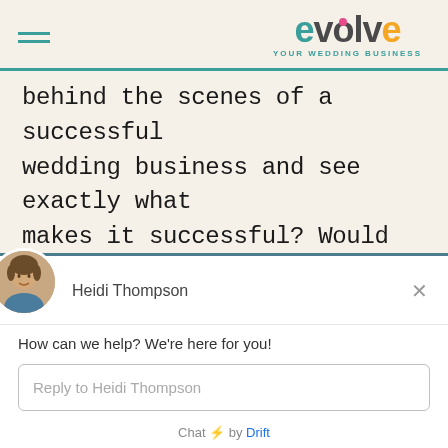[Figure (logo): Evolve Your Wedding Business logo with hamburger menu icon]
behind the scenes of a successful wedding business and see exactly what makes it successful? Would it make it easier for you to know what has worked and what hasn't worked for 3 successful
[Figure (screenshot): Drift chat widget showing Heidi Thompson avatar, name, message 'How can we help? We're here for you!', reply input box, and 'Chat by Drift' footer]